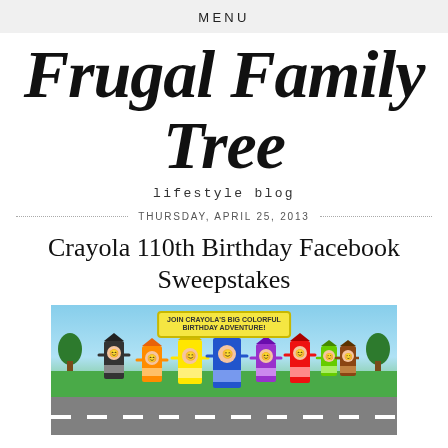MENU
Frugal Family Tree
lifestyle blog
THURSDAY, APRIL 25, 2013
Crayola 110th Birthday Facebook Sweepstakes
[Figure (illustration): Cartoon Crayola crayon characters dressed as people standing on a road with green landscape background, with a yellow banner reading JOIN CRAYOLA'S BIG COLORFUL BIRTHDAY ADVENTURE!]